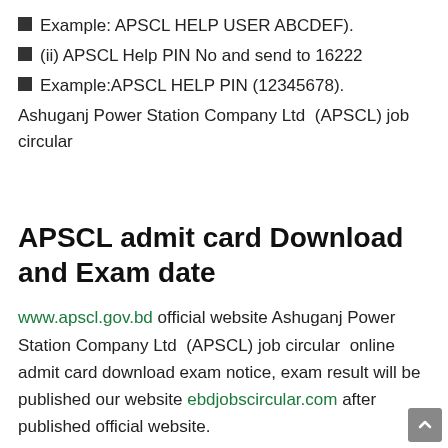Example: APSCL HELP USER ABCDEF).
(ii) APSCL Help PIN No and send to 16222
Example:APSCL HELP PIN (12345678).
Ashuganj Power Station Company Ltd  (APSCL) job circular
APSCL admit card Download and Exam date
www.apscl.gov.bd official website Ashuganj Power Station Company Ltd  (APSCL) job circular  online admit card download exam notice, exam result will be published our website ebdjobscircular.com after published official website.